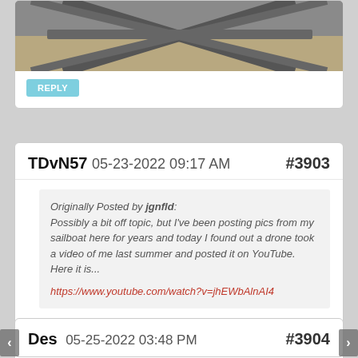[Figure (photo): Bottom portion of a photo showing metal bars in an X-pattern over sandy ground]
REPLY
TDvN57 05-23-2022 09:17 AM #3903
Originally Posted by jgnfld: Possibly a bit off topic, but I've been posting pics from my sailboat here for years and today I found out a drone took a video of me last summer and posted it on YouTube. Here it is...
https://www.youtube.com/watch?v=jhEWbAlnAI4
Nice boat...
REPLY
Des 05-25-2022 03:48 PM #3904